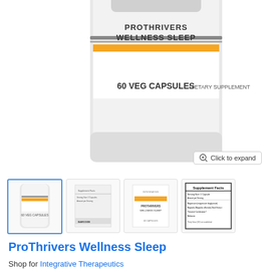[Figure (photo): Close-up photo of ProThrivers Wellness Sleep supplement bottle showing label with '60 VEG CAPSULES' and 'DIETARY SUPPLEMENT' text]
[Figure (photo): Row of four product thumbnail images: bottle front, label back, label front with orange stripe, and Supplement Facts panel]
ProThrivers Wellness Sleep
Shop for Integrative Therapeutics
$26.25
By Integrative Therapeutics
Supporting Healthy Sleep